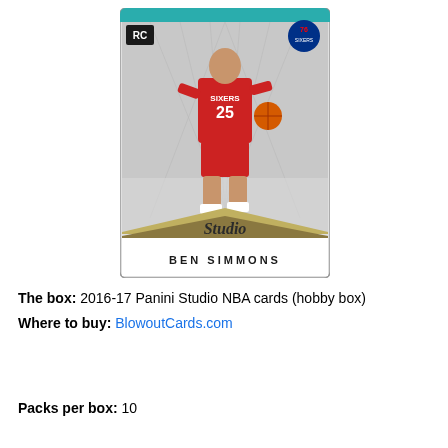[Figure (photo): Ben Simmons 2016-17 Panini Studio NBA rookie card. Player wears red Sixers #25 jersey, dribbling basketball. Card has geometric silver/teal background, Studio logo at bottom, 76ers team logo top right, RC (Rookie Card) stamp top left. Player name BEN SIMMONS printed at bottom.]
The box: 2016-17 Panini Studio NBA cards (hobby box)
Where to buy: BlowoutCards.com
Packs per box: 10